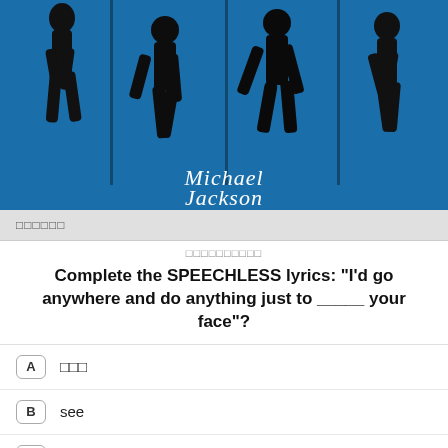[Figure (illustration): Michael Jackson silhouettes of dancing figures against a blue background with vertical panel dividers and a cursive 'Michael Jackson' signature at the bottom]
□□□□□□
□□□□□□□□□□
Complete the SPEECHLESS lyrics: "I'd go anywhere and do anything just to _____ your face"?
A  □□□
B  see
C  touch
D  have
□□□□□□□□□□